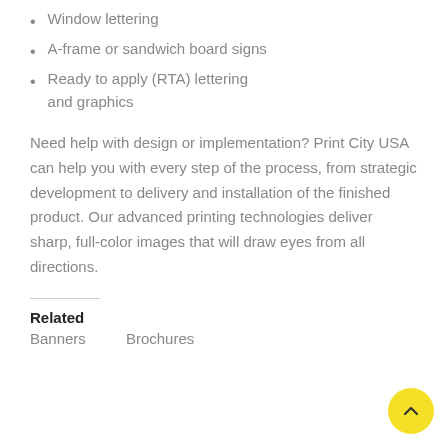Window lettering
A-frame or sandwich board signs
Ready to apply (RTA) lettering and graphics
Need help with design or implementation? Print City USA can help you with every step of the process, from strategic development to delivery and installation of the finished product. Our advanced printing technologies deliver sharp, full-color images that will draw eyes from all directions.
Related
Banners    Brochures